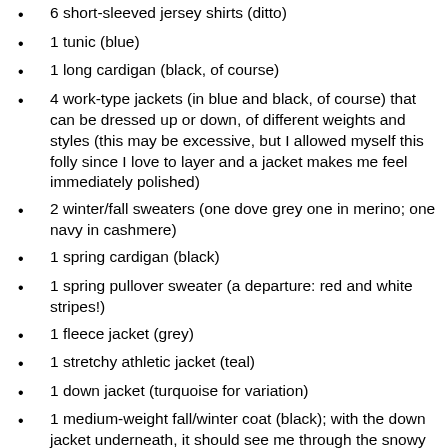6 short-sleeved jersey shirts (ditto)
1 tunic (blue)
1 long cardigan (black, of course)
4 work-type jackets (in blue and black, of course) that can be dressed up or down, of different weights and styles (this may be excessive, but I allowed myself this folly since I love to layer and a jacket makes me feel immediately polished)
2 winter/fall sweaters (one dove grey one in merino; one navy in cashmere)
1 spring cardigan (black)
1 spring pullover sweater (a departure: red and white stripes!)
1 fleece jacket (grey)
1 stretchy athletic jacket (teal)
1 down jacket (turquoise for variation)
1 medium-weight fall/winter coat (black); with the down jacket underneath, it should see me through the snowy season